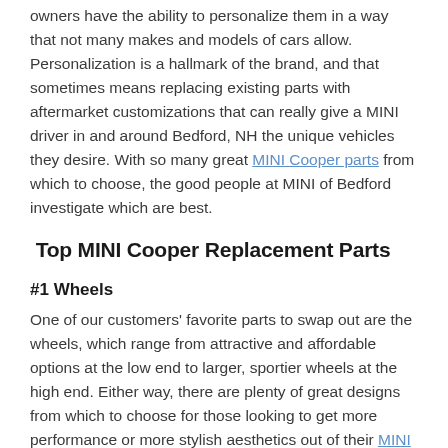owners have the ability to personalize them in a way that not many makes and models of cars allow. Personalization is a hallmark of the brand, and that sometimes means replacing existing parts with aftermarket customizations that can really give a MINI driver in and around Bedford, NH the unique vehicles they desire. With so many great MINI Cooper parts from which to choose, the good people at MINI of Bedford investigate which are best.
Top MINI Cooper Replacement Parts
#1 Wheels
One of our customers' favorite parts to swap out are the wheels, which range from attractive and affordable options at the low end to larger, sportier wheels at the high end. Either way, there are plenty of great designs from which to choose for those looking to get more performance or more stylish aesthetics out of their MINI Cooper.